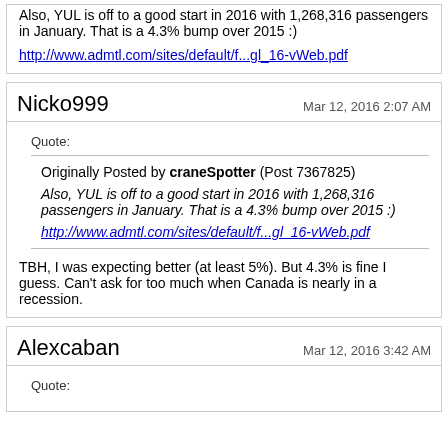Also, YUL is off to a good start in 2016 with 1,268,316 passengers in January. That is a 4.3% bump over 2015 :)
http://www.admtl.com/sites/default/f...gl_16-vWeb.pdf
Nicko999
Mar 12, 2016 2:07 AM
Quote:
Originally Posted by craneSpotter (Post 7367825) Also, YUL is off to a good start in 2016 with 1,268,316 passengers in January. That is a 4.3% bump over 2015 :)
http://www.admtl.com/sites/default/f...gl_16-vWeb.pdf
TBH, I was expecting better (at least 5%). But 4.3% is fine I guess. Can't ask for too much when Canada is nearly in a recession.
Alexcaban
Mar 12, 2016 3:42 AM
Quote: